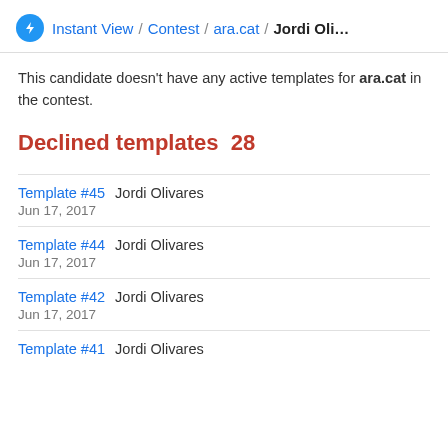Instant View / Contest / ara.cat / Jordi Oli...
This candidate doesn't have any active templates for ara.cat in the contest.
Declined templates  28
Template #45   Jordi Olivares
Jun 17, 2017
Template #44   Jordi Olivares
Jun 17, 2017
Template #42   Jordi Olivares
Jun 17, 2017
Template #41   Jordi Olivares